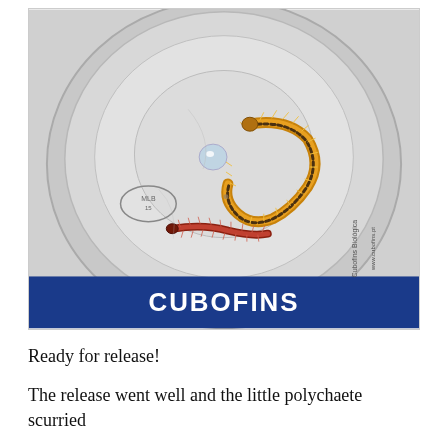[Figure (photo): A photograph taken from above of a clear plastic petri dish or container (labeled 'CUBOFINS' in blue lettering on the side) containing two polychaete worms — one yellowish-orange with visible setae (bristles) curled in a C-shape, and one smaller reddish-brown worm. The dish sits on a light grey surface.]
Ready for release!
The release went well and the little polychaete scurried